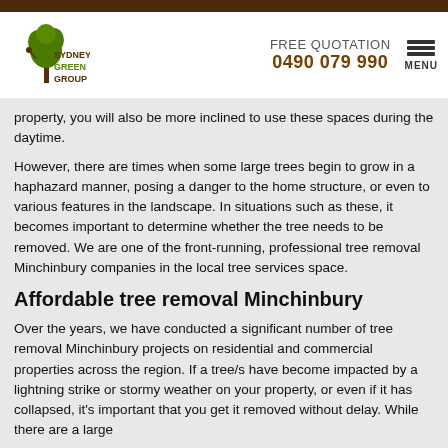[Figure (logo): Sydney Green Group logo with tree and person illustration, brown and green text]
FREE QUOTATION
0490 079 990
property, you will also be more inclined to use these spaces during the daytime.
However, there are times when some large trees begin to grow in a haphazard manner, posing a danger to the home structure, or even to various features in the landscape. In situations such as these, it becomes important to determine whether the tree needs to be removed. We are one of the front-running, professional tree removal Minchinbury companies in the local tree services space.
Affordable tree removal Minchinbury
Over the years, we have conducted a significant number of tree removal Minchinbury projects on residential and commercial properties across the region. If a tree/s have become impacted by a lightning strike or stormy weather on your property, or even if it has collapsed, it's important that you get it removed without delay. While there are a large